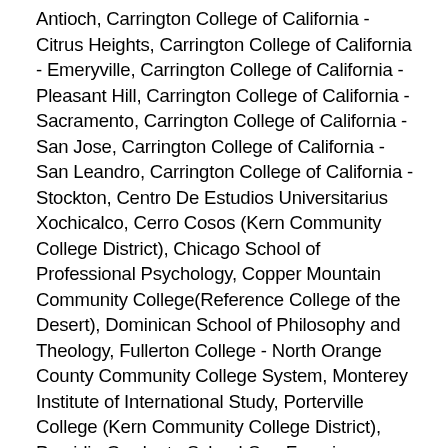Antioch, Carrington College of California - Citrus Heights, Carrington College of California - Emeryville, Carrington College of California - Pleasant Hill, Carrington College of California - Sacramento, Carrington College of California - San Jose, Carrington College of California - San Leandro, Carrington College of California - Stockton, Centro De Estudios Universitarius Xochicalco, Cerro Cosos (Kern Community College District), Chicago School of Professional Psychology, Copper Mountain Community College(Reference College of the Desert), Dominican School of Philosophy and Theology, Fullerton College - North Orange County Community College System, Monterey Institute of International Study, Porterville College (Kern Community College District), Presidio Graduate School-San Francisco Campus, Santa Clara University - Jesuit School of Theology, Southern California Institute of Architecture, The Santa Barbara and Ventura College of Law, The Santa Barbara and Ventura Colleges of Law, The Santa Barbara and Ventura Colleges of Law -